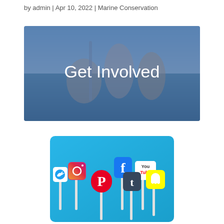by admin | Apr 10, 2022 | Marine Conservation
[Figure (photo): Family on a boat on the ocean with semi-transparent blue overlay and large white text reading 'Get Involved']
[Figure (photo): Social media icons (Instagram, Facebook, YouTube, Pinterest, Tumblr, Snapchat, Twitter) on sticks against a bright blue background]